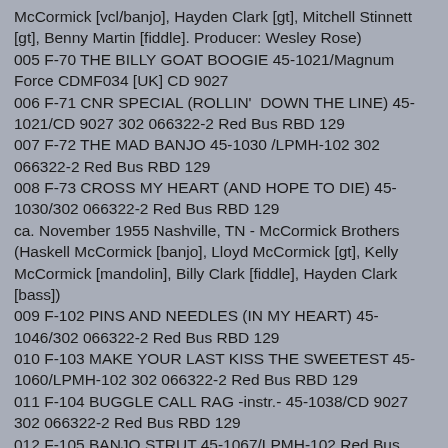McCormick [vcl/banjo], Hayden Clark [gt], Mitchell Stinnett [gt], Benny Martin [fiddle]. Producer: Wesley Rose) 005 F-70 THE BILLY GOAT BOOGIE 45-1021/Magnum Force CDMF034 [UK] CD 9027 006 F-71 CNR SPECIAL (ROLLIN'  DOWN THE LINE) 45-1021/CD 9027 302 066322-2 Red Bus RBD 129 007 F-72 THE MAD BANJO 45-1030 /LPMH-102 302 066322-2 Red Bus RBD 129 008 F-73 CROSS MY HEART (AND HOPE TO DIE) 45-1030/302 066322-2 Red Bus RBD 129 ca. November 1955 Nashville, TN - McCormick Brothers (Haskell McCormick [banjo], Lloyd McCormick [gt], Kelly McCormick [mandolin], Billy Clark [fiddle], Hayden Clark [bass]) 009 F-102 PINS AND NEEDLES (IN MY HEART) 45-1046/302 066322-2 Red Bus RBD 129 010 F-103 MAKE YOUR LAST KISS THE SWEETEST 45-1060/LPMH-102 302 066322-2 Red Bus RBD 129 011 F-104 BUGGLE CALL RAG -instr.- 45-1038/CD 9027 302 066322-2 Red Bus RBD 129 012 F-105 BANJO STRUT 45-1067/LPMH-102 Red Bus RBD 129